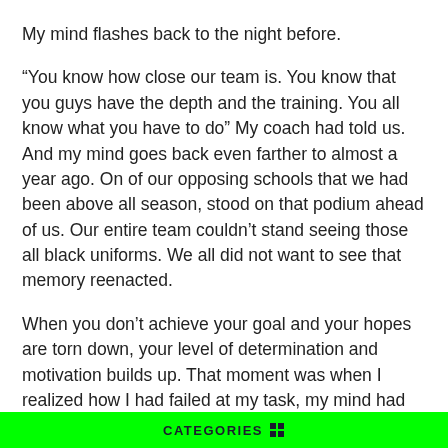My mind flashes back to the night before.
“You know how close our team is. You know that you guys have the depth and the training. You all know what you have to do” My coach had told us. And my mind goes back even farther to almost a year ago. On of our opposing schools that we had been above all season, stood on that podium ahead of us. Our entire team couldn’t stand seeing those all black uniforms. We all did not want to see that memory reenacted.
When you don’t achieve your goal and your hopes are torn down, your level of determination and motivation builds up. That moment was when I realized how I had failed at my task, my mind had become clear. We needed unity, we needed to be as a team; one. That was mine and my co teammate’s goal. To get our team together and gain what we have lost in the past two years. Some people couldn’t give it their all. Their minds wouldn’t let their bodies go past that barrier. Our
CATEGORIES